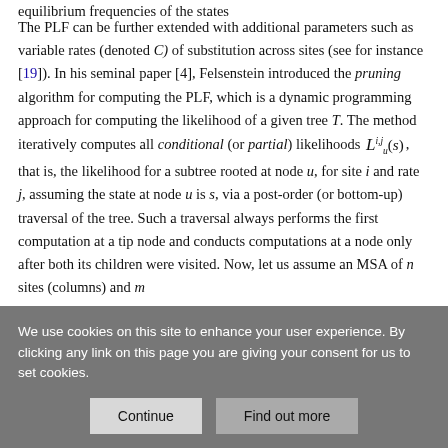equilibrium frequencies of the states
The PLF can be further extended with additional parameters such as variable rates (denoted C) of substitution across sites (see for instance [19]). In his seminal paper [4], Felsenstein introduced the pruning algorithm for computing the PLF, which is a dynamic programming approach for computing the likelihood of a given tree T. The method iteratively computes all conditional (or partial) likelihoods L^{i,j}_u(s), that is, the likelihood for a subtree rooted at node u, for site i and rate j, assuming the state at node u is s, via a post-order (or bottom-up) traversal of the tree. Such a traversal always performs the first computation at a tip node and conducts computations at a node only after both its children were visited. Now, let us assume an MSA of n sites (columns) and m
We use cookies on this site to enhance your user experience. By clicking any link on this page you are giving your consent for us to set cookies.
Continue
Find out more